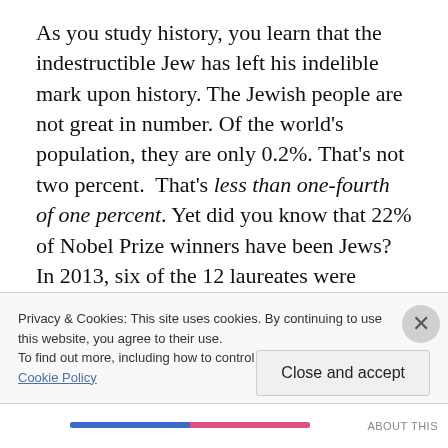As you study history, you learn that the indestructible Jew has left his indelible mark upon history. The Jewish people are not great in number. Of the world's population, they are only 0.2%. That's not two percent.  That's less than one-fourth of one percent. Yet did you know that 22% of Nobel Prize winners have been Jews? In 2013, six of the 12 laureates were Jewish. Think of that.
Abraham's descendants consistently win high percentages not just of Nobel Prizes but other awards in medicine, health, music, and public life. What a mark they've made
Privacy & Cookies: This site uses cookies. By continuing to use this website, you agree to their use.
To find out more, including how to control cookies, see here: Cookie Policy